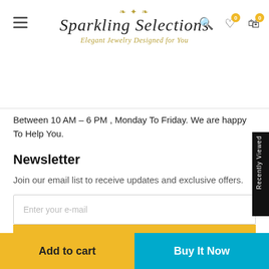[Figure (logo): Sparkling Selections jewelry store logo with ornamental flourishes and tagline 'Elegant Jewelry Designed for You']
Between 10 AM – 6 PM , Monday To Friday. We are happy To Help You.
Newsletter
Join our email list to receive updates and exclusive offers.
Enter your e-mail
Subscribe
Add to cart
Buy It Now